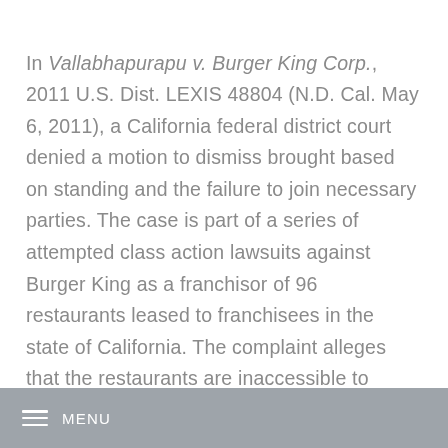In Vallabhapurapu v. Burger King Corp., 2011 U.S. Dist. LEXIS 48804 (N.D. Cal. May 6, 2011), a California federal district court denied a motion to dismiss brought based on standing and the failure to join necessary parties. The case is part of a series of attempted class action lawsuits against Burger King as a franchisor of 96 restaurants leased to franchisees in the state of California. The complaint alleges that the restaurants are inaccessible to customers in wheelchairs, in violation of the Americans with Disabilities Act,
MENU